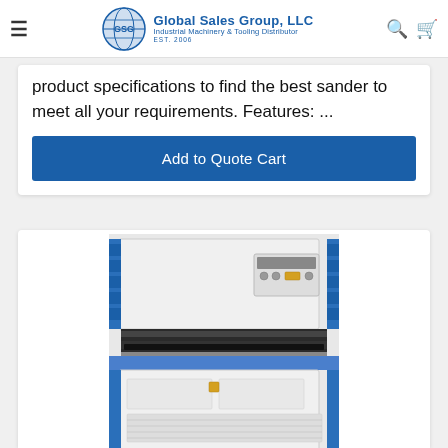Global Sales Group, LLC — Industrial Machinery & Tooling Distributor EST. 2006
product specifications to find the best sander to meet all your requirements. Features: ...
Add to Quote Cart
[Figure (photo): Industrial wide belt sander machine with blue and white casing, brush rollers visible in the center opening, and control panel on top right.]